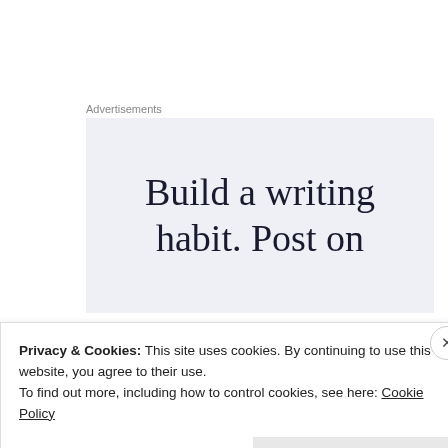Advertisements
[Figure (other): Advertisement banner with light blue-grey background and text: Build a writing habit. Post on]
[Figure (illustration): Line drawing illustration of a woman's face/head with decorative hair, profile avatar for DCTdesigns]
DCTdesigns
Privacy & Cookies: This site uses cookies. By continuing to use this website, you agree to their use.
To find out more, including how to control cookies, see here: Cookie Policy
Close and accept